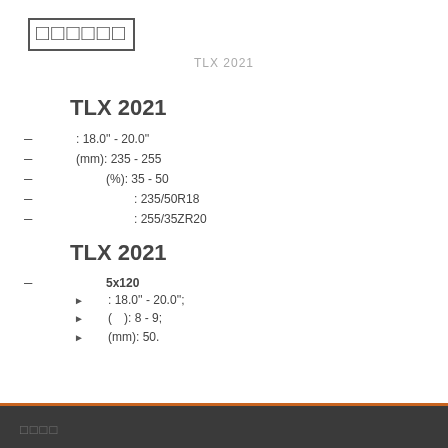▪▪▪▪▪▪
TLX 2021
TLX 2021
– : 18.0'' - 20.0''
– (mm): 235 - 255
– (%): 35 - 50
– : 235/50R18
– : 255/35ZR20
TLX 2021
– 5x120
► : 18.0'' - 20.0'';
► ( ): 8 - 9;
► (mm): 50.
▪▪▪▪